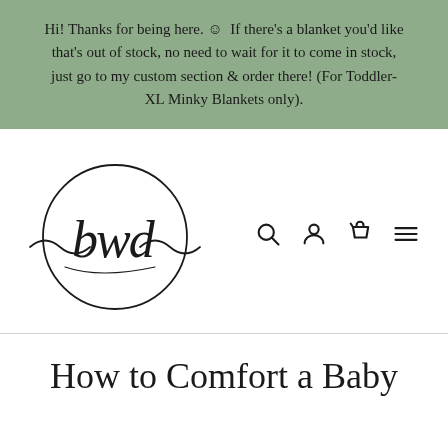Hi! Thanks for being here. ☺  If there's a blanket you'd like that's out of stock, no need to wait for it to come in stock, just go to my custom section & order there! (For Toddler-XL Minky Blankets only).
[Figure (logo): BWD brand logo — cursive 'bwd' script inside a hand-drawn circle with flowing lines extending left and right]
How to Comfort a Baby